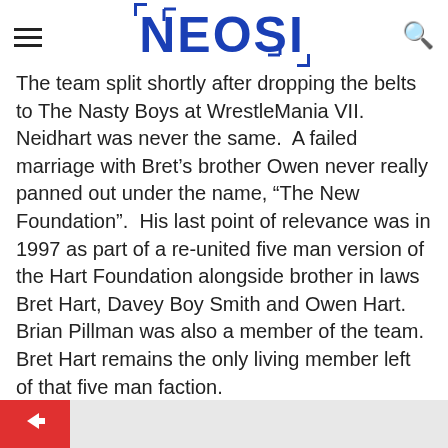NEOSI
The team split shortly after dropping the belts to The Nasty Boys at WrestleMania VII. Neidhart was never the same.  A failed marriage with Bret’s brother Owen never really panned out under the name, “The New Foundation”.  His last point of relevance was in 1997 as part of a re-united five man version of the Hart Foundation alongside brother in laws Bret Hart, Davey Boy Smith and Owen Hart.  Brian Pillman was also a member of the team.  Bret Hart remains the only living member left of that five man faction.
He was the father of current female star Natalya. Neidhart was only 63 at the time of his passing.